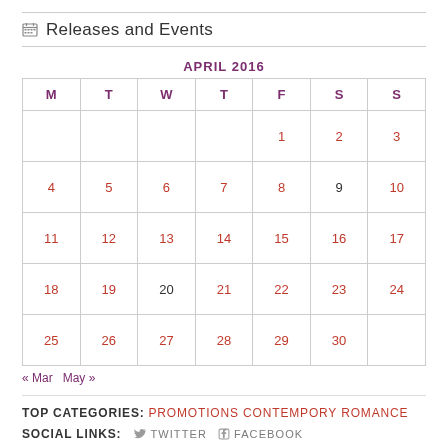Releases and Events
| M | T | W | T | F | S | S |
| --- | --- | --- | --- | --- | --- | --- |
|  |  |  |  | 1 | 2 | 3 |
| 4 | 5 | 6 | 7 | 8 | 9 | 10 |
| 11 | 12 | 13 | 14 | 15 | 16 | 17 |
| 18 | 19 | 20 | 21 | 22 | 23 | 24 |
| 25 | 26 | 27 | 28 | 29 | 30 |  |
« Mar   May »
TOP CATEGORIES: PROMOTIONS CONTEMPORY ROMANCE
SOCIAL LINKS: TWITTER FACEBOOK
BLOG AT WORDPRESS.COM.